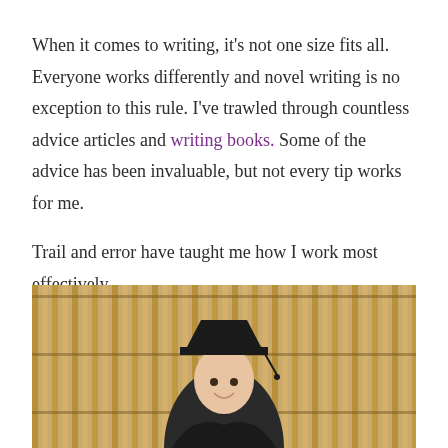When it comes to writing, it's not one size fits all. Everyone works differently and novel writing is no exception to this rule. I've trawled through countless advice articles and writing books. Some of the advice has been invaluable, but not every tip works for me.

Trail and error have taught me how I work most effectively.
[Figure (photo): A young woman in graduation cap and gown, smiling, standing in front of a wooden slatted wall background.]